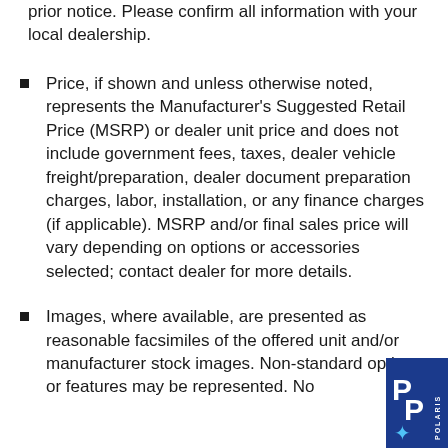prior notice. Please confirm all information with your local dealership.
Price, if shown and unless otherwise noted, represents the Manufacturer's Suggested Retail Price (MSRP) or dealer unit price and does not include government fees, taxes, dealer vehicle freight/preparation, dealer document preparation charges, labor, installation, or any finance charges (if applicable). MSRP and/or final sales price will vary depending on options or accessories selected; contact dealer for more details.
Images, where available, are presented as reasonable facsimiles of the offered unit and/or manufacturer stock images. Non-standard options or features may be represented. No guarantee of availability or inclusion of displayed options should be inferred; contact dealer for more details.
[Figure (logo): Polaris logo — blue rectangle with stylized 'P' letters and a star, with POLARIS text]